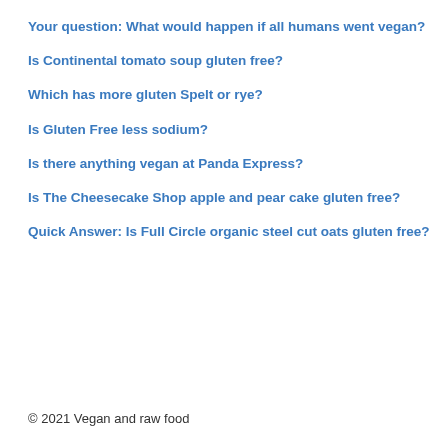Your question: What would happen if all humans went vegan?
Is Continental tomato soup gluten free?
Which has more gluten Spelt or rye?
Is Gluten Free less sodium?
Is there anything vegan at Panda Express?
Is The Cheesecake Shop apple and pear cake gluten free?
Quick Answer: Is Full Circle organic steel cut oats gluten free?
© 2021 Vegan and raw food